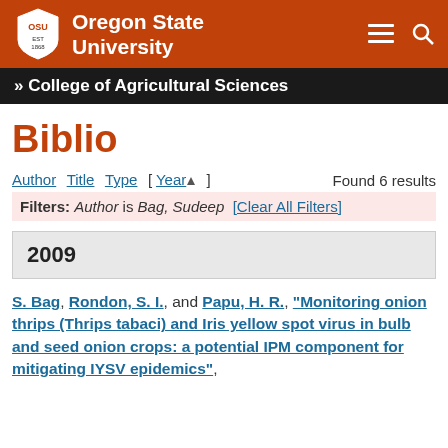[Figure (logo): Oregon State University logo and navigation header with orange background, OSU shield logo, university name, hamburger menu and search icons]
» College of Agricultural Sciences
Biblio
Author  Title  Type  [ Year ▲ ]    Found 6 results
Filters: Author is Bag, Sudeep  [Clear All Filters]
2009
S. Bag, Rondon, S. I., and Papu, H. R., "Monitoring onion thrips (Thrips tabaci) and Iris yellow spot virus in bulb and seed onion crops: a potential IPM component for mitigating IYSV epidemics",